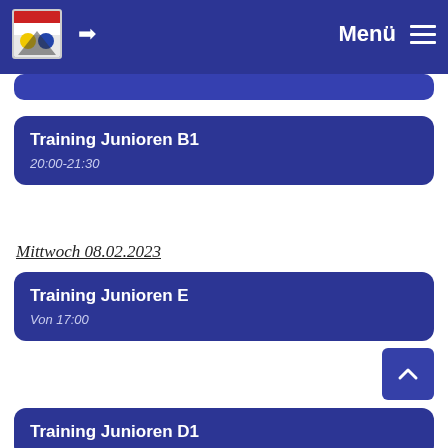Menü
Training Junioren B1
20:00-21:30
Mittwoch 08.02.2023
Training Junioren E
Von 17:00
Training Junioren D1